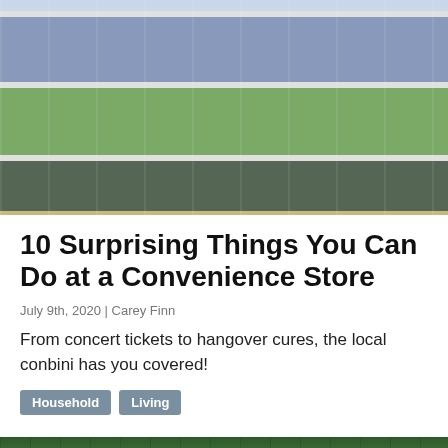[Figure (photo): Photo of convenience store shelves stocked with Japanese beverages and products, including energy drinks, juices, and various bottled drinks with price tags visible]
10 Surprising Things You Can Do at a Convenience Store
July 9th, 2020 | Carey Finn
From concert tickets to hangover cures, the local conbini has you covered!
Household  Living
[Figure (photo): Partial photo of green foliage/trees visible at bottom of page]